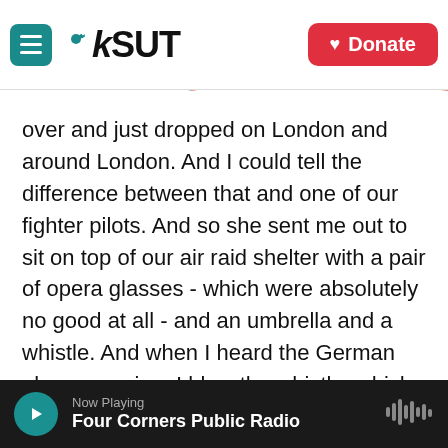[Figure (logo): KSUT public radio logo with hamburger menu button and colorful rainbow banner graphic]
[Figure (other): Red Donate button with heart icon in top right corner]
over and just dropped on London and around London. And I could tell the difference between that and one of our fighter pilots. And so she sent me out to sit on top of our air raid shelter with a pair of opera glasses - which were absolutely no good at all - and an umbrella and a whistle. And when I heard the German planes coming, I blew the whistle, which gave her a little bit more time to get on with anything she was doing. But, of course, there came a day when I truly rebelled and said, I'm not going to do it. It's too wet, and it's too cold out there. And after the bomb had dropped in our
Now Playing
Four Corners Public Radio